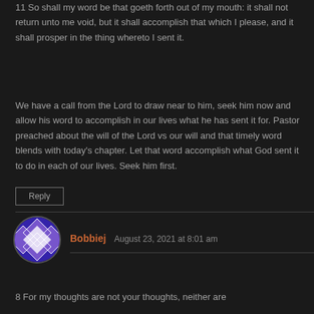11 So shall my word be that goeth forth out of my mouth: it shall not return unto me void, but it shall accomplish that which I please, and it shall prosper in the thing whereto I sent it.
We have a call from the Lord to draw near to him, seek him now and allow his word to accomplish in our lives what he has sent it for. Pastor preached about the will of the Lord vs our will and that timely word blends with today's chapter. Let that word accomplish what God sent it to do in each of our lives. Seek him first.
Reply
Bobbiej  August 23, 2021 at 8:01 am
8 For my thoughts are not your thoughts, neither are